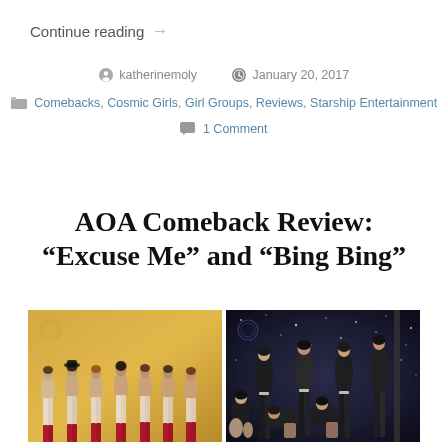Continue reading →
katherinemoly  January 20, 2017
Comebacks, Cosmic Girls, Girl Groups, Reviews, Starship Entertainment
1 Comment
AOA Comeback Review: “Excuse Me” and “Bing Bing”
[Figure (photo): Two promotional photos of AOA K-pop girl group side by side. Left photo shows members in beige/khaki outfits on a yellow background. Right photo shows members in black outfits on a dark sparkly background.]